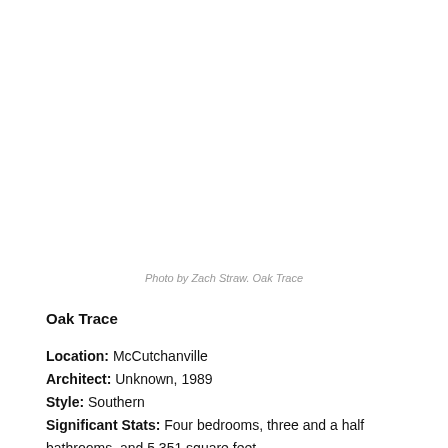Photo by Zach Straw. Oak Trace
Oak Trace
Location: McCutchanville
Architect: Unknown, 1989
Style: Southern
Significant Stats: Four bedrooms, three and a half bathrooms, and 5,351 square feet.